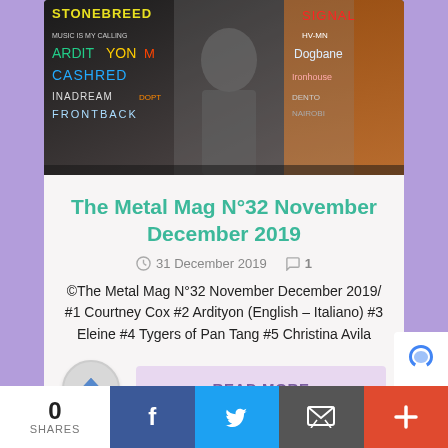[Figure (photo): Magazine cover of The Metal Mag N°32 November December 2019 showing a person in metallic clothing with band names including Stonebreed, Ardityon, LA Shred, Inadream, Frontback, Doghane visible]
The Metal Mag N°32 November December 2019
31 December 2019   1
©The Metal Mag N°32 November December 2019/ #1 Courtney Cox #2 Ardityon (English – Italiano) #3 Eleine #4 Tygers of Pan Tang #5 Christina Avila
READ MORE
0 SHARES  [Facebook] [Twitter] [Email] [+]